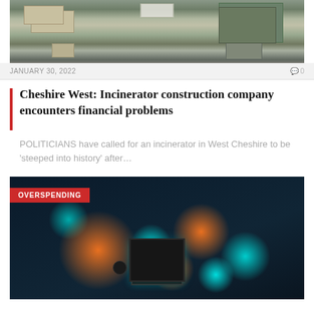[Figure (photo): Aerial view of an industrial/construction site with vehicles, buildings, and parking area]
JANUARY 30, 2022
0
Cheshire West: Incinerator construction company encounters financial problems
POLITICIANS have called for an incinerator in West Cheshire to be 'steeped into history' after…
[Figure (photo): Close-up macro photo of a circuit board with glowing orange and cyan/teal light highlights on electronic components]
OVERSPENDING